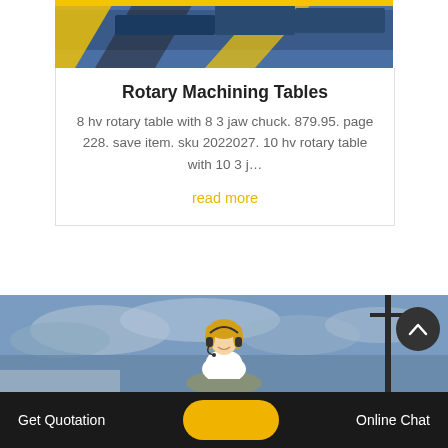[Figure (photo): Industrial rotary machining equipment, yellow and blue machinery visible at top of card]
Rotary Machining Tables
8 hv rotary table with 8 3 jaw chuck. 879.95. page 228. save item. sku 2022027. 10 hv rotary table with 10 3 j…
read more
[Figure (photo): Outdoor industrial scene with cloudy sky and a tall pole or crane structure; customer service agent (blonde woman with headset) overlaid at bottom]
Get Quotation
Online Chat